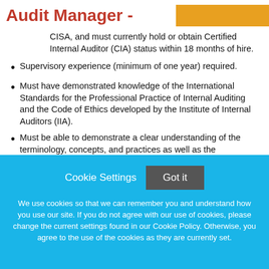Audit Manager -
CISA, and must currently hold or obtain Certified Internal Auditor (CIA) status within 18 months of hire.
Supervisory experience (minimum of one year) required.
Must have demonstrated knowledge of the International Standards for the Professional Practice of Internal Auditing and the Code of Ethics developed by the Institute of Internal Auditors (IIA).
Must be able to demonstrate a clear understanding of the terminology, concepts, and practices as well as the regulations, risks, and controls inherent in higher education
Cookie Settings   Got it
We use cookies so that we can remember you and understand how you use our site. If you do not agree with our use of cookies, please change the current settings found in our Cookie Policy. Otherwise, you agree to the use of the cookies as they are currently set.